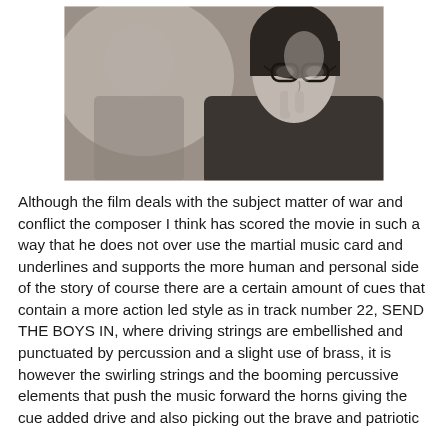[Figure (photo): Black and white photograph of a woman wearing glasses with her hand raised near her chin in a thoughtful pose, with another figure partially visible in the background.]
Although the film deals with the subject matter of war and conflict the composer I think has scored the movie in such a way that he does not over use the martial music card and underlines and supports the more human and personal side of the story of course there are a certain amount of cues that contain a more action led style as in track number 22, SEND THE BOYS IN, where driving strings are embellished and punctuated by percussion and a slight use of brass, it is however the swirling strings and the booming percussive elements that push the music forward the horns giving the cue added drive and also picking out the brave and patriotic